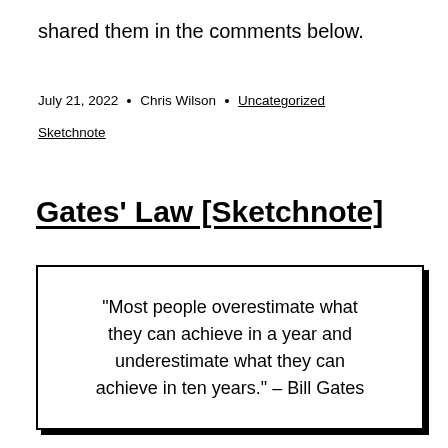shared them in the comments below.
July 21, 2022 · Chris Wilson · Uncategorized
Sketchnote
Gates' Law [Sketchnote]
“Most people overestimate what they can achieve in a year and underestimate what they can achieve in ten years.” – Bill Gates